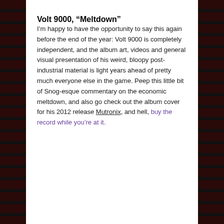Volt 9000, "Meltdown"
I’m happy to have the opportunity to say this again before the end of the year: Volt 9000 is completely independent, and the album art, videos and general visual presentation of his weird, bloopy post-industrial material is light years ahead of pretty much everyone else in the game. Peep this little bit of Snog-esque commentary on the economic meltdown, and also go check out the album cover for his 2012 release Mutronix, and hell, buy the record while you’re at it.